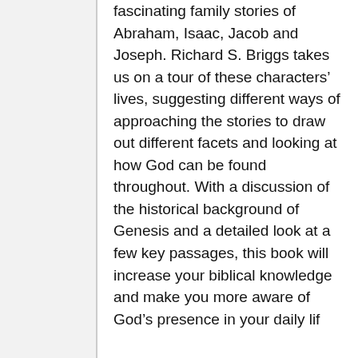fascinating family stories of Abraham, Isaac, Jacob and Joseph. Richard S. Briggs takes us on a tour of these characters' lives, suggesting different ways of approaching the stories to draw out different facets and looking at how God can be found throughout. With a discussion of the historical background of Genesis and a detailed look at a few key passages, this book will increase your biblical knowledge and make you more aware of God's presence in your daily life